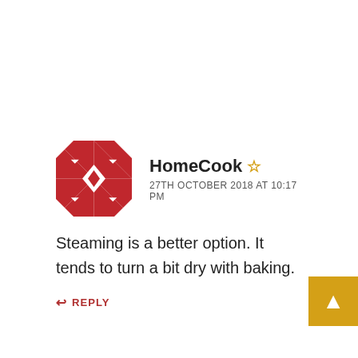[Figure (logo): Red and white quilted/geometric avatar icon for user HomeCook]
HomeCook ☆
27TH OCTOBER 2018 AT 10:17 PM
Steaming is a better option. It tends to turn a bit dry with baking.
REPLY